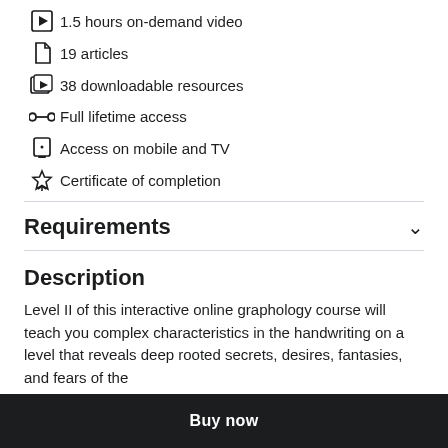1.5 hours on-demand video
19 articles
38 downloadable resources
Full lifetime access
Access on mobile and TV
Certificate of completion
Requirements
Description
Level II of this interactive online graphology course will teach you complex characteristics in the handwriting on a level that reveals deep rooted secrets, desires, fantasies, and fears of the
Buy now